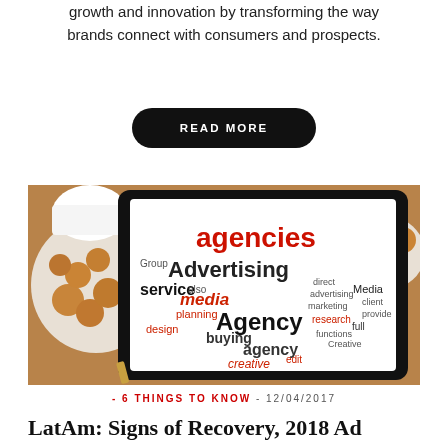growth and innovation by transforming the way brands connect with consumers and prospects.
READ MORE
[Figure (photo): A tablet displaying a word cloud related to advertising agencies (words: agencies, Advertising, media, Agency, service, planning, design, buying, agency, creative, etc.) surrounded by cookies and a coffee cup on a wooden table.]
- 6 THINGS TO KNOW - 12/04/2017
LatAm: Signs of Recovery, 2018 Ad